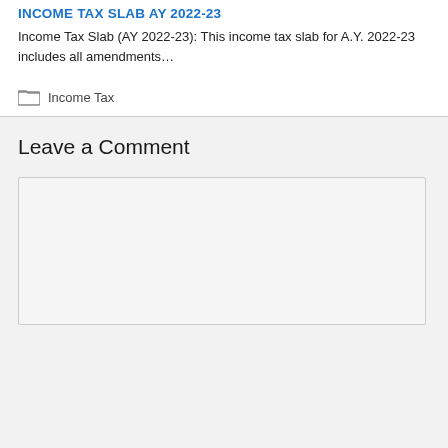INCOME TAX SLAB AY 2022-23
Income Tax Slab (AY 2022-23): This income tax slab for A.Y. 2022-23 includes all amendments…
Income Tax
Leave a Comment